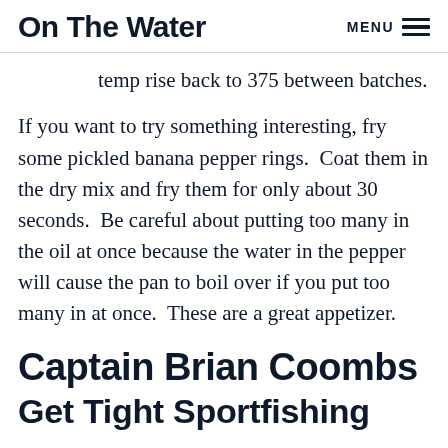On The Water   MENU
temp rise back to 375 between batches.
If you want to try something interesting, fry some pickled banana pepper rings.  Coat them in the dry mix and fry them for only about 30 seconds.  Be careful about putting too many in the oil at once because the water in the pepper will cause the pan to boil over if you put too many in at once.  These are a great appetizer.
Captain Brian Coombs
Get Tight Sportfishing